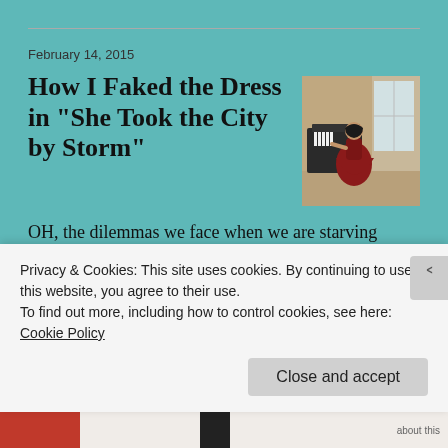February 14, 2015
How I Faked the Dress in “She Took the City by Storm”
[Figure (photo): A person in a dark red/maroon dress standing near a piano in a room with a window]
OH, the dilemmas we face when we are starving artists… Most of the dilemmas have to do with wanting to produce something we don’t have the budget or the resources to produce. Which is where I found myself standin…
Privacy & Cookies: This site uses cookies. By continuing to use this website, you agree to their use.
To find out more, including how to control cookies, see here:
Cookie Policy
Close and accept